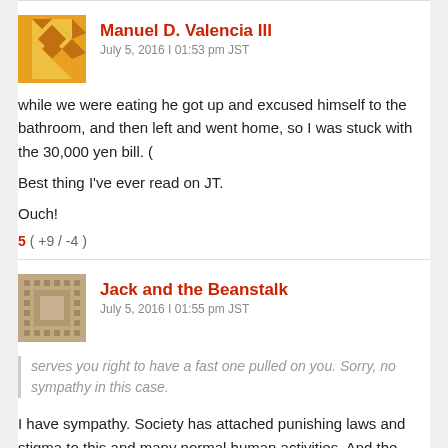Manuel D. Valencia III
July 5, 2016 | 01:53 pm JST
while we were eating he got up and excused himself to the bathroom, and then left and went home, so I was stuck with the 30,000 yen bill. (
Best thing I've ever read on JT.
Ouch!
5 ( +9 / -4 )
Jack and the Beanstalk
July 5, 2016 | 01:55 pm JST
serves you right to have a fast one pulled on you. Sorry, no sympathy in this case.
I have sympathy. Society has attached punishing laws and stigma to this and many normal human activities. And the result is that people have no guide on how to go about